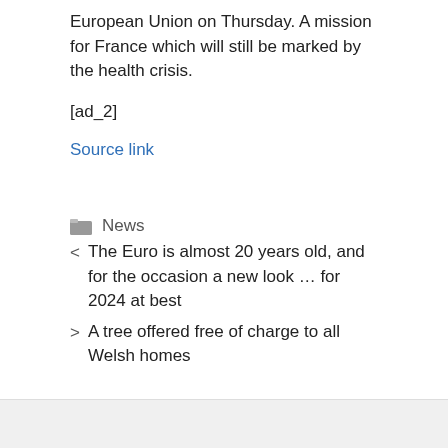European Union on Thursday. A mission for France which will still be marked by the health crisis.
[ad_2]
Source link
News
< The Euro is almost 20 years old, and for the occasion a new look ... for 2024 at best
> A tree offered free of charge to all Welsh homes